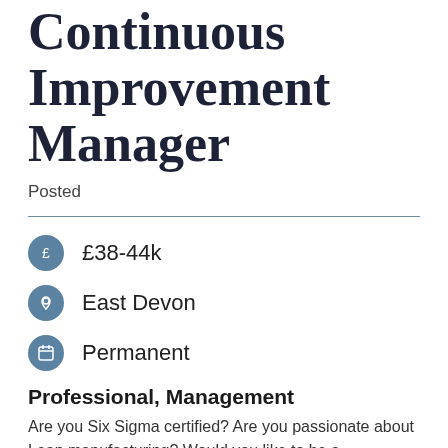Continuous Improvement Manager
Posted
£38-44k
East Devon
Permanent
Professional, Management
Are you Six Sigma certified? Are you passionate about Lean manufacturing? Would you like to be a